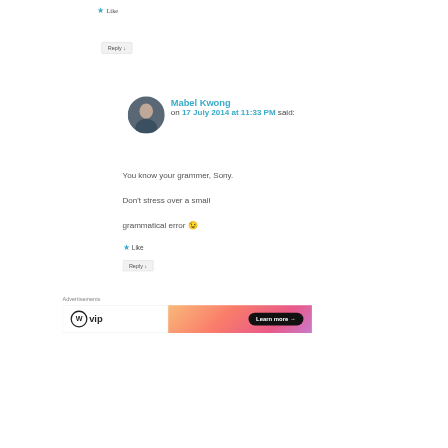★ Like
Reply ↓
Mabel Kwong on 17 July 2014 at 11:33 PM said:
[Figure (photo): Round profile photo of Mabel Kwong]
You know your grammer, Sony. Don't stress over a small grammatical error 😉
★ Like
Reply ↓
Advertisements
[Figure (infographic): WordPress VIP advertisement banner with Learn more button]